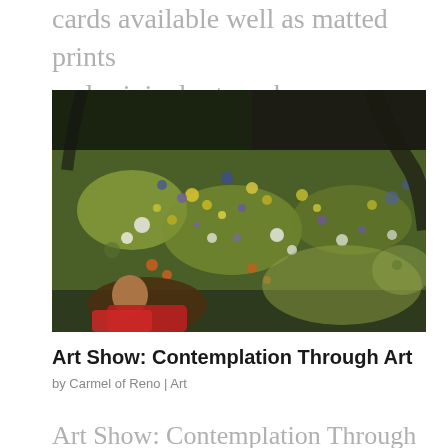cards available well as matted prints and original art works. Throughout the...
[Figure (photo): An impressionist-style painting showing a lush garden scene with colorful dabs of paint in green, yellow, white, purple, and orange. A figure with a red garment is visible in the lower left corner, partially obscured by foliage.]
Art Show: Contemplation Through Art
by Carmel of Reno | Art
Art Show: Contemplation Through Art